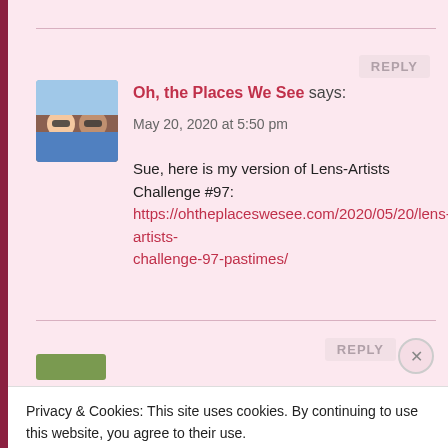REPLY
Oh, the Places We See says:
May 20, 2020 at 5:50 pm
Sue, here is my version of Lens-Artists Challenge #97: https://ohtheplaceswesee.com/2020/05/20/lens-artists-challenge-97-pastimes/
REPLY
Privacy & Cookies: This site uses cookies. By continuing to use this website, you agree to their use.
To find out more, including how to control cookies, see here: Cookie Policy
Close and accept